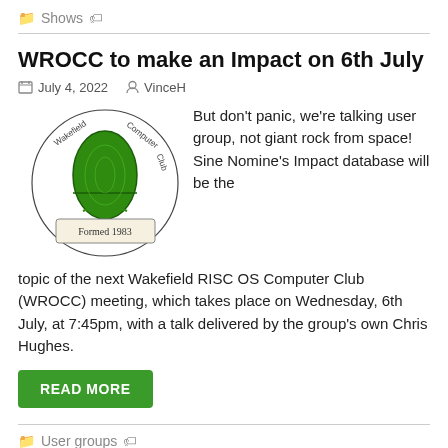Shows
WROCC to make an Impact on 6th July
July 4, 2022   VinceH
[Figure (logo): Wakefield RISC-Os Computer Club circular logo with a green egg and text 'Formed 1983']
But don't panic, we're talking user group, not giant rock from space! Sine Nomine's Impact database will be the topic of the next Wakefield RISC OS Computer Club (WROCC) meeting, which takes place on Wednesday, 6th July, at 7:45pm, with a talk delivered by the group's own Chris Hughes.
READ MORE
User groups